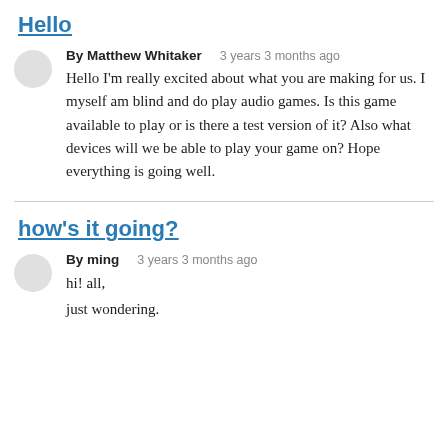Hello
By Matthew Whitaker   3 years 3 months ago
Hello I'm really excited about what you are making for us. I myself am blind and do play audio games. Is this game available to play or is there a test version of it? Also what devices will we be able to play your game on? Hope everything is going well.
how's it going?
By ming   3 years 3 months ago
hi! all,
just wondering.